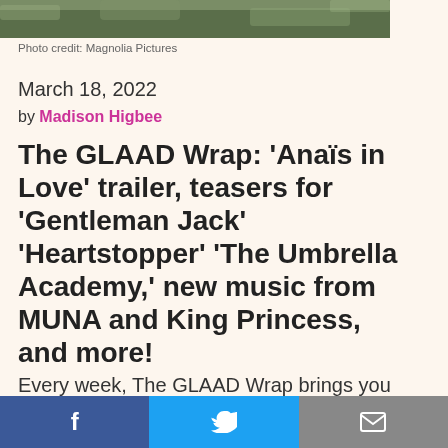[Figure (photo): Top portion of an outdoor photograph, cropped – rocky/grassy landscape background]
Photo credit: Magnolia Pictures
March 18, 2022
by Madison Higbee
The GLAAD Wrap: 'Anaïs in Love' trailer, teasers for 'Gentleman Jack' 'Heartstopper' 'The Umbrella Academy,' new music from MUNA and King Princess, and more!
Every week, The GLAAD Wrap brings you LGBTQ-related entertainment news highlights, fresh stuff to watch out for, and fun diversions to help you kick off
f  [twitter bird]  [mail]